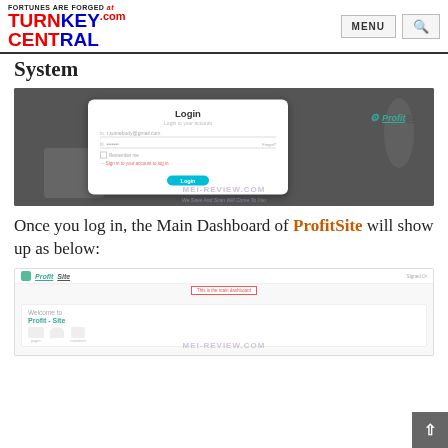FORTUNES ARE FORGED at TURNKEY CENTRAL .com — MENU [search]
System
[Figure (screenshot): ProfitSite login screen with email/password fields, Login button in teal, and ProfitSite logo. MEI-REVIEW.COM watermark visible.]
Once you log in, the Main Dashboard of ProfitSite will show up as below:
[Figure (screenshot): ProfitSite main dashboard screenshot showing Welcome to Profit-Site header, icons for pages and customers, with annotation 'This is the main dashboard'. MEI-REVIEW.COM watermark visible.]